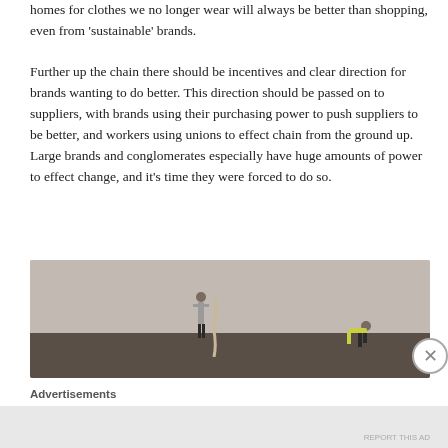homes for clothes we no longer wear will always be better than shopping, even from 'sustainable' brands.
Further up the chain there should be incentives and clear direction for brands wanting to do better. This direction should be passed on to suppliers, with brands using their purchasing power to push suppliers to be better, and workers using unions to effect chain from the ground up. Large brands and conglomerates especially have huge amounts of power to effect change, and it's time they were forced to do so.
[Figure (photo): Photo of two people standing and crouching on a large rubble/waste mound against a hazy grey sky, suggesting a landfill or dump site scene.]
Advertisements